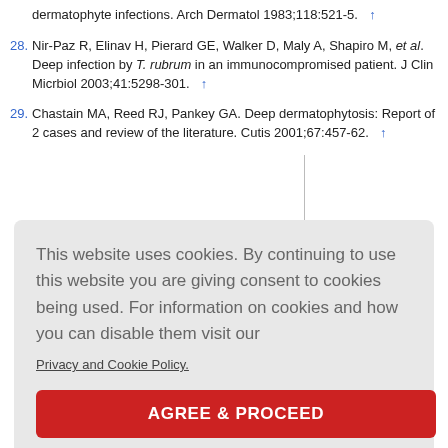dermatophyte infections. Arch Dermatol 1983;118:521-5.
28. Nir-Paz R, Elinav H, Pierard GE, Walker D, Maly A, Shapiro M, et al. Deep infection by T. rubrum in an immunocompromised patient. J Clin Micrbiol 2003;41:5298-301.
29. Chastain MA, Reed RJ, Pankey GA. Deep dermatophytosis: Report of 2 cases and review of the literature. Cutis 2001;67:457-62.
This website uses cookies. By continuing to use this website you are giving consent to cookies being used. For information on cookies and how you can disable them visit our
Privacy and Cookie Policy.
AGREE & PROCEED